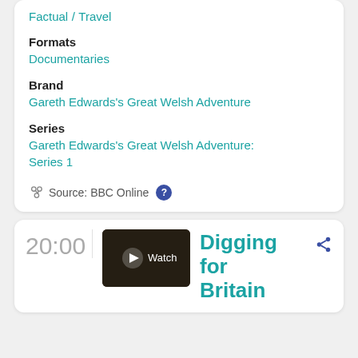Factual / Travel
Formats
Documentaries
Brand
Gareth Edwards's Great Welsh Adventure
Series
Gareth Edwards's Great Welsh Adventure: Series 1
Source: BBC Online
20:00
[Figure (screenshot): Video thumbnail showing a dark scene with a play button and Watch label overlay]
Digging for Britain